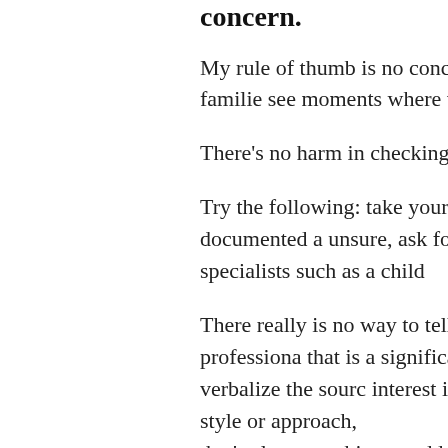concern.
My rule of thumb is no concern is too small. I have worked with many families see moments where they had concern
There's no harm in checking in with pr all aspects of your child's health.
Try the following: take your child to yo with anything you have documented a unsure, ask for a referral to a pediatric referrals to specialists such as a child
There really is no way to tell whether a unless it is assessed by a professional that is a significant cause for concern. causes and cannot verbalize the source interest in activities they previously en emotional style or approach, that's also something to address.